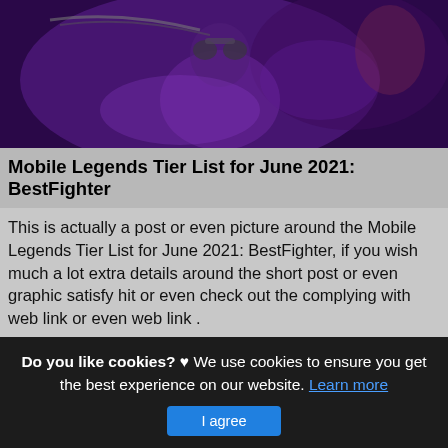[Figure (illustration): Game artwork showing a fantasy/mobile game character with purple magical effects and chains, dark atmospheric background]
Mobile Legends Tier List for June 2021: BestFighter
This is actually a post or even picture around the Mobile Legends Tier List for June 2021: BestFighter, if you wish much a lot extra details around the short post or even graphic satisfy hit or even check out the complying with web link or even web link .
(Read More)
Source: afkgaming.com Visit Web
Do you like cookies? ♥ We use cookies to ensure you get the best experience on our website. Learn more
I agree